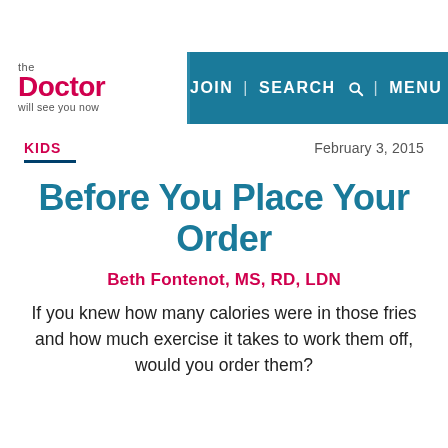[Figure (logo): the Doctor will see you now — website logo with navigation bar showing JOIN | SEARCH | MENU]
KIDS
February 3, 2015
Before You Place Your Order
Beth Fontenot, MS, RD, LDN
If you knew how many calories were in those fries and how much exercise it takes to work them off, would you order them?